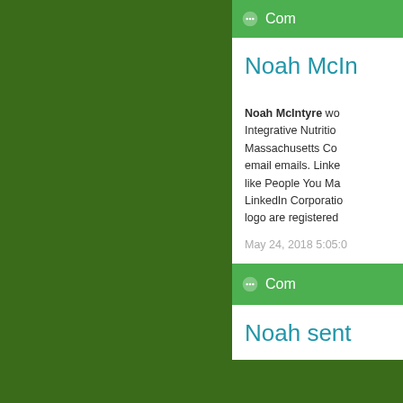[Figure (screenshot): Screenshot of a social media or CRM interface showing a dark green background on the left side and a right panel with white cards. The top partial card shows a 'Com...' label on a green bar. The main white card shows 'Noah McIn...' as title in blue, with body text starting with 'Noah McIntyre wo... Integrative Nutritio... Massachusetts Co... email emails. Linke... like People You Ma... LinkedIn Corporatio... logo are registered...' and a date 'May 24, 2018 5:05:0...'. Below is another green bar with 'Com...' and a partial second white card with title 'Noah sent...']